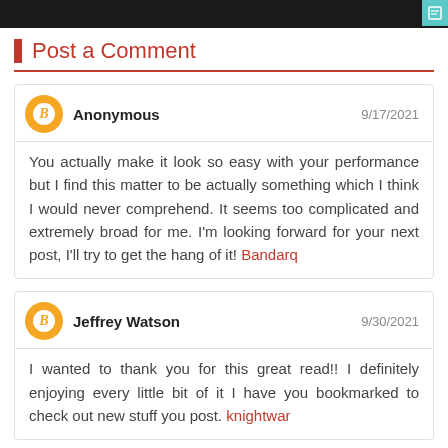[Figure (photo): Dark header image strip with teal icon on right]
Post a Comment
Anonymous 9/17/2021
You actually make it look so easy with your performance but I find this matter to be actually something which I think I would never comprehend. It seems too complicated and extremely broad for me. I'm looking forward for your next post, I'll try to get the hang of it! Bandarq
Jeffrey Watson 9/30/2021
I wanted to thank you for this great read!! I definitely enjoying every little bit of it I have you bookmarked to check out new stuff you post. knightwar